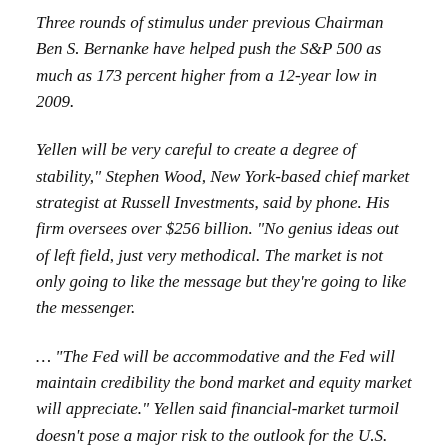Three rounds of stimulus under previous Chairman Ben S. Bernanke have helped push the S&P 500 as much as 173 percent higher from a 12-year low in 2009.
Yellen will be very careful to create a degree of stability," Stephen Wood, New York-based chief market strategist at Russell Investments, said by phone. His firm oversees over $256 billion. "No genius ideas out of left field, just very methodical. The market is not only going to like the message but they're going to like the messenger.
… "The Fed will be accommodative and the Fed will maintain credibility the bond market and equity market will appreciate." Yellen said financial-market turmoil doesn't pose a major risk to the outlook for the U.S. economy. Asset prices aren't at "worrisome levels" even after the S&P 500 soared 30 percent last year, Yellen said, although the Fed is on the lookout for any threat of a bubble.